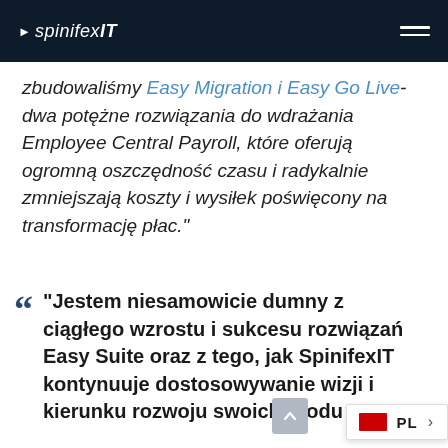spinifexIT
zbudowaliśmy Easy Migration i Easy Go Live- dwa potężne rozwiązania do wdrażania Employee Central Payroll, które oferują ogromną oszczędność czasu i radykalnie zmniejszają koszty i wysiłek poświęcony na transformację płac.
"Jestem niesamowicie dumny z ciągłego wzrostu i sukcesu rozwiązań Easy Suite oraz z tego, jak SpinifexIT kontynuuje dostosowywanie wizji i kierunku rozwoju swoich produ...